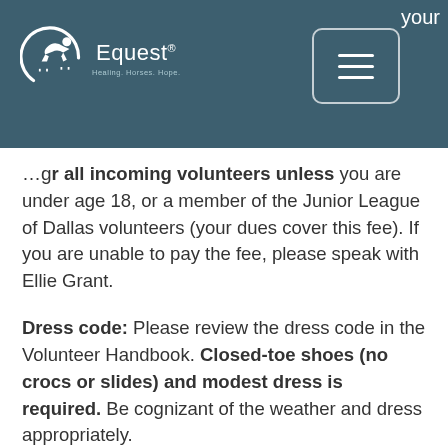Equest — navigation header with hamburger menu
...required for all incoming volunteers unless you are under age 18, or a member of the Junior League of Dallas volunteers (your dues cover this fee). If you are unable to pay the fee, please speak with Ellie Grant.
Dress code: Please review the dress code in the Volunteer Handbook. Closed-toe shoes (no crocs or slides) and modest dress is required. Be cognizant of the weather and dress appropriately.
Email: Our primary form of communication is email and social media. If a month goes by and you do not receive a volunteer-specific email from us, please notify us to ensure that you are on the correct email list.